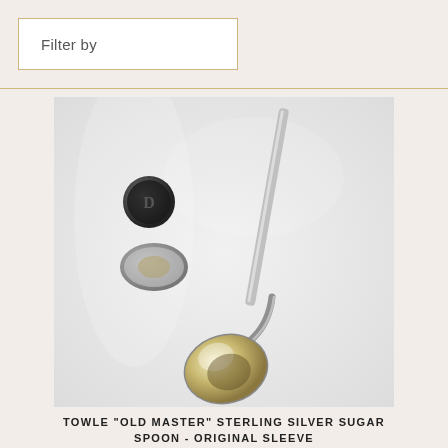Filter by
[Figure (photo): A sterling silver sugar spoon with a rounded bowl and long handle, photographed against a light plastic bag background. Several silver hallmarks or stamps are visible to the left of the spoon.]
TOWLE "OLD MASTER" STERLING SILVER SUGAR SPOON - ORIGINAL SLEEVE